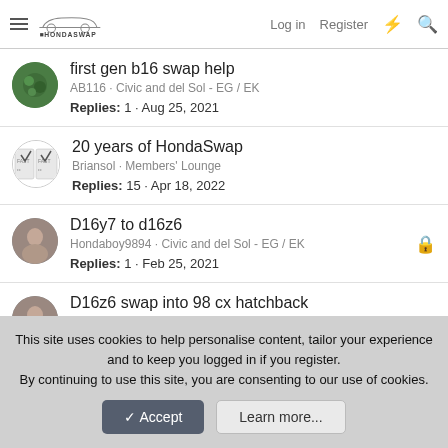HondaSwap | Log in | Register
first gen b16 swap help
AB116 · Civic and del Sol - EG / EK
Replies: 1 · Aug 25, 2021
20 years of HondaSwap
Briansol · Members' Lounge
Replies: 15 · Apr 18, 2022
D16y7 to d16z6
Hondaboy9894 · Civic and del Sol - EG / EK
Replies: 1 · Feb 25, 2021
D16z6 swap into 98 cx hatchback
Hondaboy9894 · Civic and del Sol - EG / EK
Replies: 1 · Feb 25, 2021
This site uses cookies to help personalise content, tailor your experience and to keep you logged in if you register.
By continuing to use this site, you are consenting to our use of cookies.